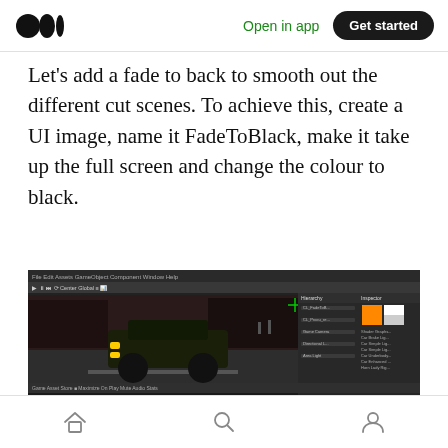Open in app | Get started
Let's add a fade to back to smooth out the different cut scenes. To achieve this, create a UI image, name it FadeToBlack, make it take up the full screen and change the colour to black.
[Figure (screenshot): Unity game engine editor screenshot showing a dark 3D scene with a car and the Unity UI panels for hierarchy, project, and inspector.]
Home | Search | Profile